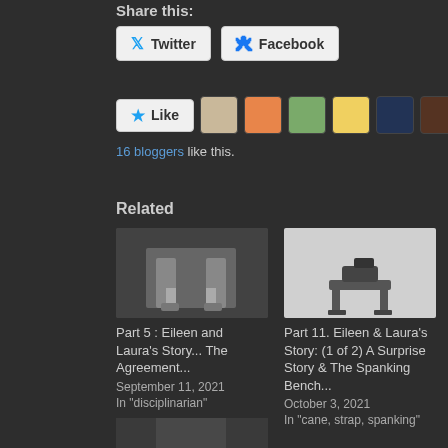Share this:
Twitter  Facebook
[Figure (infographic): Like button and blogger avatar thumbnails row. 16 bloggers like this.]
16 bloggers like this.
Related
[Figure (photo): Black and white photo of person in stockings and heels]
Part 5 : Eileen and Laura's Story... The Agreement...
September 11, 2021
In "disciplinarian"
[Figure (photo): Render/photo of a spanking bench furniture piece on grey background]
Part 11. Eileen & Laura's Story: (1 of 2) A Surprise Story & The Spanking Bench...
October 3, 2021
In "cane, strap, spanking"
[Figure (photo): Partially visible black and white photo at bottom of page]